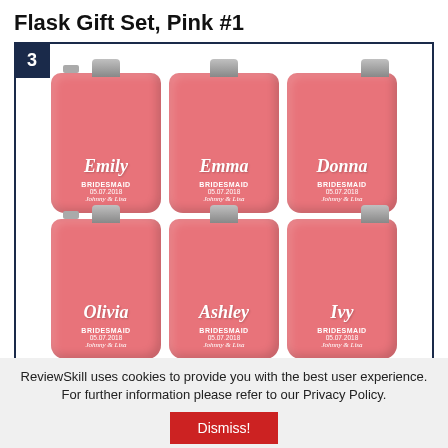Flask Gift Set, Pink #1
[Figure (photo): Six pink personalized bridesmaid flasks arranged in two rows of three. Top row: Emily, Emma, Donna. Bottom row: Olivia, Ashley, Ivy. Each flask shows BRIDESMAID, date 05.07.2018, and 'Johnny & Lisa' in script. The flasks are coral/salmon pink with white engraved text.]
ReviewSkill uses cookies to provide you with the best user experience. For further information please refer to our Privacy Policy.
Dismiss!